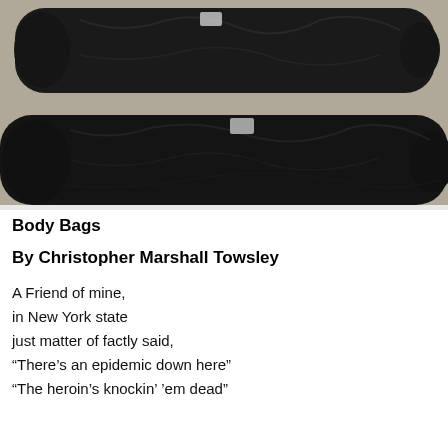[Figure (photo): Photograph of two human body bags wrapped in black plastic lying on a light-colored surface]
Body Bags
By Christopher Marshall Towsley
A Friend of mine,
in New York state
just matter of factly said,
“There’s an epidemic down here”
“The heroin’s knockin’ ’em dead”